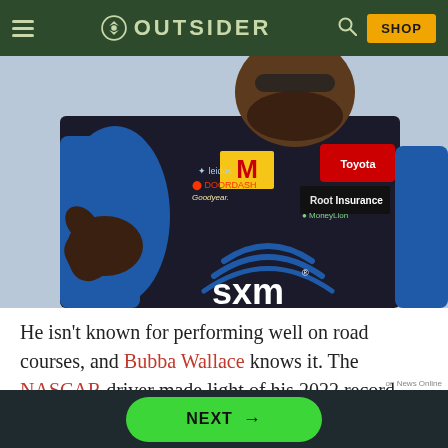OUTSIDER
[Figure (photo): NASCAR driver Bubba Wallace in racing suit with SXM, McDonald's, Toyota, Root Insurance, Leidos, DoorDash, and Goodyear logos, giving a thumbs up gesture]
He isn't known for performing well on road courses, and Bubba Wallace knows it. The NASCAR driver made light of his 2022 record after a ROE
NEXT →